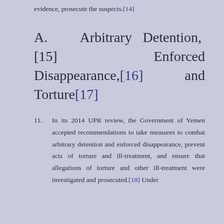evidence, prosecute the suspects.[14]
A. Arbitrary Detention, [15] Enforced Disappearance,[16] and Torture[17]
11. In its 2014 UPR review, the Government of Yemen accepted recommendations to take measures to combat arbitrary detention and enforced disappearance, prevent acts of torture and ill-treatment, and ensure that allegations of torture and other ill-treatment were investigated and prosecuted.[18] Under